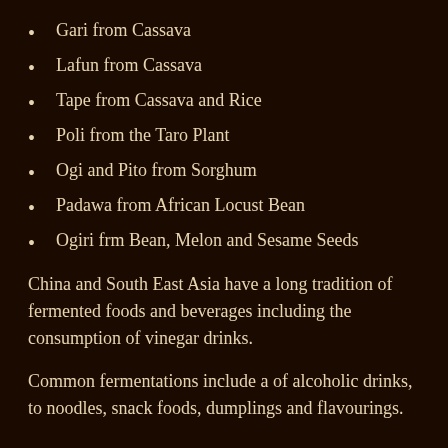Gari from Cassava
Lafun from Cassava
Tape from Cassava and Rice
Poli from the Taro Plant
Ogi and Pito from Sorghum
Padawa from African Locust Bean
Ogiri frm Bean, Melon and Sesame Seeds
China and South East Asia have a long tradition of fermented foods and beverages including the consumption of vinegar drinks.
Common fermentations include a of alcoholic drinks, to noodles, snack foods, dumplings and flavourings.